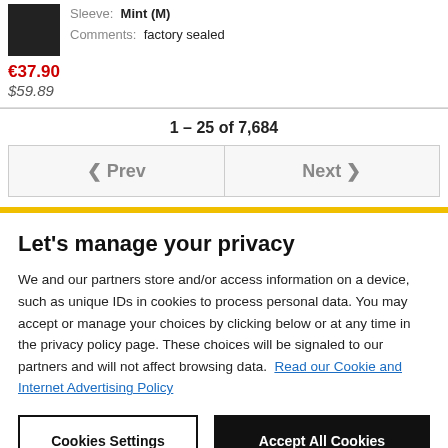Sleeve: Mint (M)
Comments: factory sealed
€37.90
$59.89
1 – 25 of 7,684
< Prev   Next >
Let's manage your privacy
We and our partners store and/or access information on a device, such as unique IDs in cookies to process personal data. You may accept or manage your choices by clicking below or at any time in the privacy policy page. These choices will be signaled to our partners and will not affect browsing data. Read our Cookie and Internet Advertising Policy
Cookies Settings   Accept All Cookies